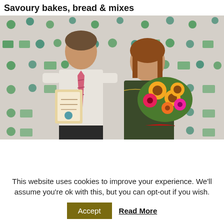Savoury bakes, bread & mixes
[Figure (photo): Two people standing in front of a branded photo wall. A man in a white shirt and pink tie holds a certificate/award, and a woman in a dark floral dress holds a large bouquet of sunflowers and bright flowers.]
This website uses cookies to improve your experience. We'll assume you're ok with this, but you can opt-out if you wish.
Accept  Read More